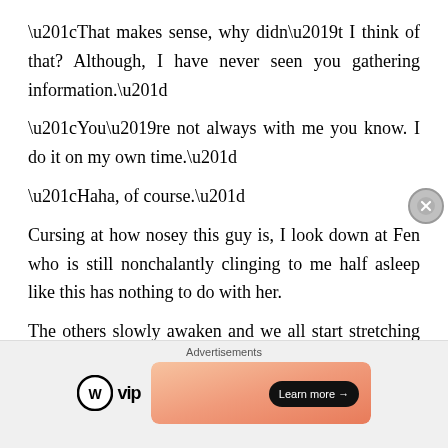“That makes sense, why didn’t I think of that? Although, I have never seen you gathering information.”
“You’re not always with me you know. I do it on my own time.”
“Haha, of course.”
Cursing at how nosey this guy is, I look down at Fen who is still nonchalantly clinging to me half asleep like this has nothing to do with her.
The others slowly awaken and we all start stretching ourselves. It isn’t that the game leaves us feeling sore, but stretching after waking has a euphoric effect on the joint…
[Figure (other): Advertisement banner area with WordPress VIP logo and a gradient ad banner with 'Learn more' button]